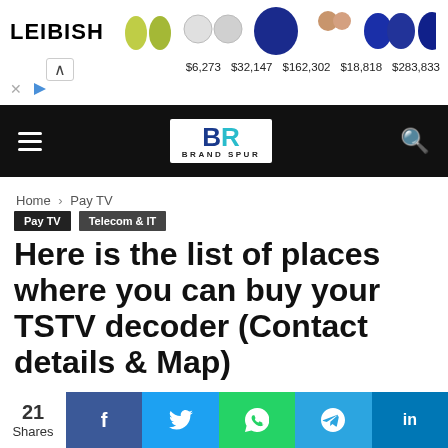[Figure (screenshot): Leibish jewelry advertisement banner showing gem stones with prices: $6,273, $32,147, $162,302, $18,818, $283,833]
[Figure (logo): Brand Spur navigation bar with hamburger menu, BR logo, and search icon]
Home › Pay TV
Pay TV   Telecom & IT
Here is the list of places where you can buy your TSTV decoder (Contact details & Map)
21 Shares — social sharing buttons: Facebook, Twitter, WhatsApp, Telegram, LinkedIn